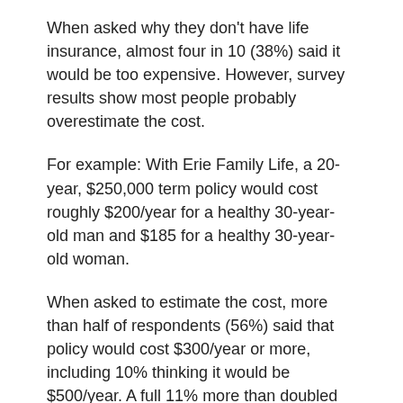When asked why they don't have life insurance, almost four in 10 (38%) said it would be too expensive. However, survey results show most people probably overestimate the cost.
For example: With Erie Family Life, a 20-year, $250,000 term policy would cost roughly $200/year for a healthy 30-year-old man and $185 for a healthy 30-year-old woman.
When asked to estimate the cost, more than half of respondents (56%) said that policy would cost $300/year or more, including 10% thinking it would be $500/year. A full 11% more than doubled the actual cost, estimating the cost at more than $500/year.